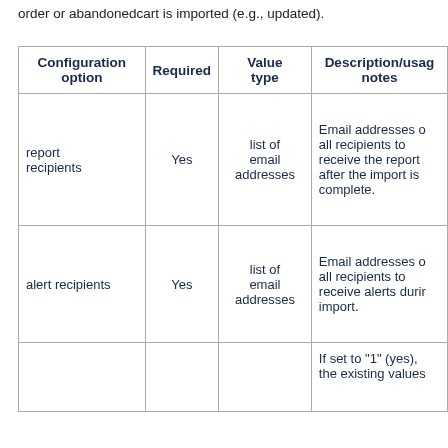order or abandonedcart is imported (e.g., updated).
| Configuration option | Required | Value type | Description/usage notes |
| --- | --- | --- | --- |
| report recipients | Yes | list of email addresses | Email addresses of all recipients to receive the report after the import is complete. |
| alert recipients | Yes | list of email addresses | Email addresses of all recipients to receive alerts during import. |
|  |  |  | If set to "1" (yes), the existing values... |